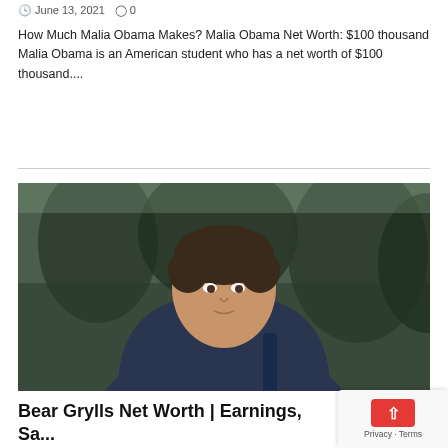June 13, 2021  ◯ 0
How Much Malia Obama Makes? Malia Obama Net Worth: $100 thousand Malia Obama is an American student who has a net worth of $100 thousand....
[Figure (photo): Man wearing a dark navy blue and orange hoodie jacket, looking directly at the camera with trees in the blurred background, likely outdoors in a snowy or cold environment.]
Bear Grylls Net Worth | Earnings, Sa... Income